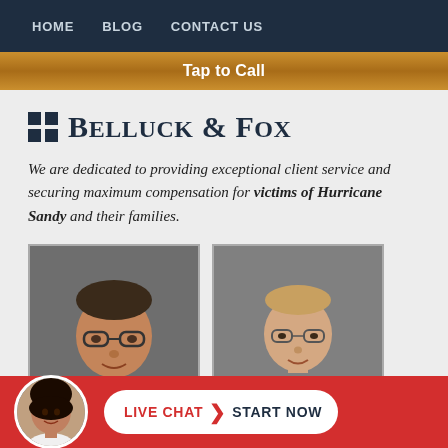HOME  BLOG  CONTACT US
Tap to Call
[Figure (logo): Belluck & Fox law firm logo with grid icon and serif text]
We are dedicated to providing exceptional client service and securing maximum compensation for victims of Hurricane Sandy and their families.
[Figure (photo): Headshot of older male attorney with glasses, dark jacket, blue shirt]
[Figure (photo): Headshot of younger male attorney with glasses in suit and tie]
[Figure (photo): Circular avatar of female chat representative with dark hair]
LIVE CHAT  START NOW